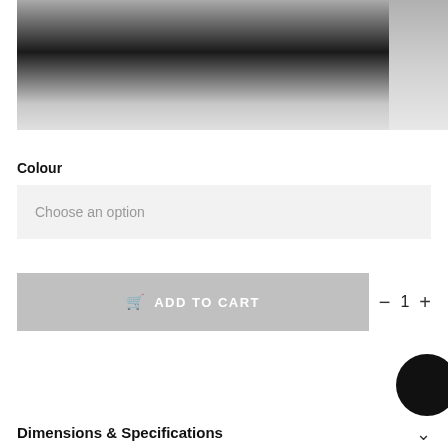[Figure (photo): Product image showing gradient from dark to light, with a partial side image on the right]
Colour
Choose an option
ADD TO CART  −  1  +
Dimensions & Specifications